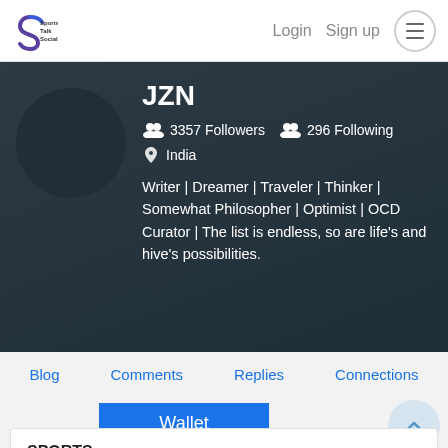Sports Talk Social  Login  Sign up
JZN
3357 Followers   296 Following   India
Writer | Dreamer | Traveler | Thinker | Somewhat Philosopher | Optimist | OCD Curator | The list is endless, so are life's and hive's possibilities.
Blog
Comments
Replies
Connections
Wallet
SPORTS
0 SPORTS
Tradeable tokens that may be